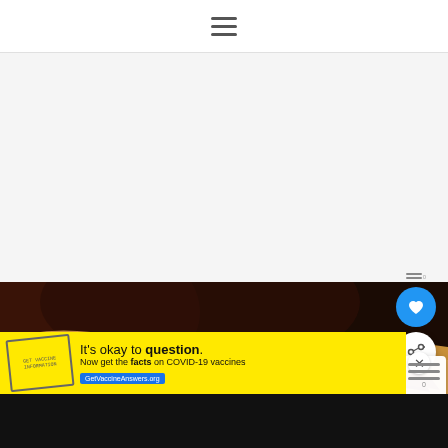☰ (hamburger menu icon)
[Figure (photo): Close-up photo of cooked meat with sauce, dark reddish-brown tones, on a tan/beige surface.]
[Figure (screenshot): Social sharing UI: blue heart/save button and white share button with plus icon, overlaid on food photo.]
WHAT'S NEXT → Crockpot Swedish...
[Figure (photo): Small thumbnail of Swedish meatball dish in crockpot.]
[Figure (screenshot): Yellow advertisement banner: stamp graphic, 'It's okay to question. Now get the facts on COVID-19 vaccines. GetVaccineAnswers.org']
Black bottom navigation bar